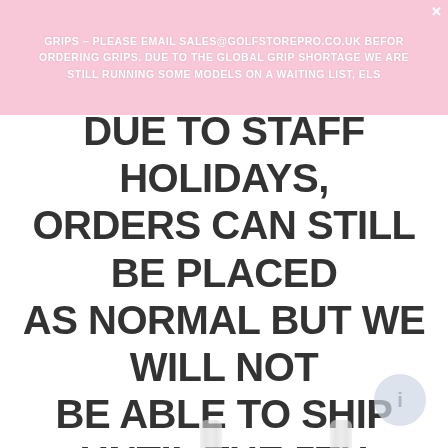GRIPS – PLEASE EMAIL SALES@GOLFSTOREPRO.CO.UK BEFORE ORDERING GRIPS. DUE TO THE GLOBAL GRIP SHORTAGE WE ARE STILL RUNNING SOME MODELS ON A WAITING LIST, ELS
DUE TO STAFF HOLIDAYS, ORDERS CAN STILL BE PLACED AS NORMAL BUT WE WILL NOT BE ABLE TO SHIP UNTIL THE 5TH SEPTEMBER, VERY SORRY FOR ANY INCONVIENIENCE CAUSED
[Figure (photo): Background showing golf grip product images (vertical cylindrical grips) with light gray coloring on white background, partially visible]